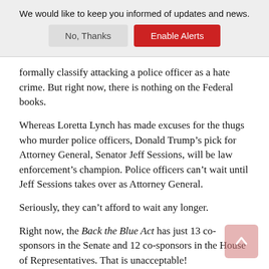We would like to keep you informed of updates and news.
No, Thanks | Enable Alerts
formally classify attacking a police officer as a hate crime. But right now, there is nothing on the Federal books.
Whereas Loretta Lynch has made excuses for the thugs who murder police officers, Donald Trump’s pick for Attorney General, Senator Jeff Sessions, will be law enforcement’s champion. Police officers can’t wait until Jeff Sessions takes over as Attorney General.
Seriously, they can’t afford to wait any longer.
Right now, the Back the Blue Act has just 13 co-sponsors in the Senate and 12 co-sponsors in the House of Representatives. That is unacceptable!